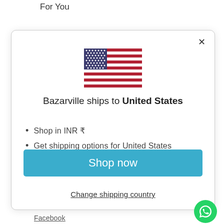For You
[Figure (illustration): US flag emoji/icon showing stars and stripes]
Bazarville ships to United States
Shop in INR ₹
Get shipping options for United States
Shop now
Change shipping country
Facebook